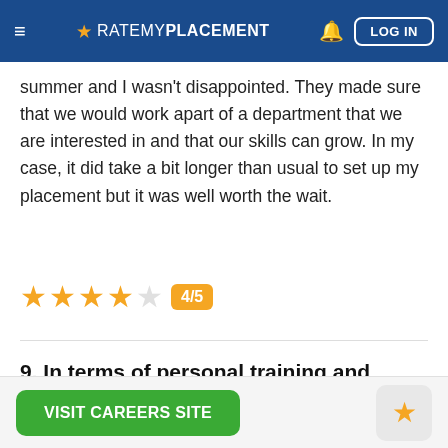≡ ★ RATEMYPLACEMENT 🔔 LOG IN
summer and I wasn't disappointed. They made sure that we would work apart of a department that we are interested in and that our skills can grow. In my case, it did take a bit longer than usual to set up my placement but it was well worth the wait.
[Figure (infographic): Star rating: 4 filled orange stars, 1 empty star, with badge showing 4/5]
9. In terms of personal training and development, to what extent did the company or firm invest in you?
VISIT CAREERS SITE